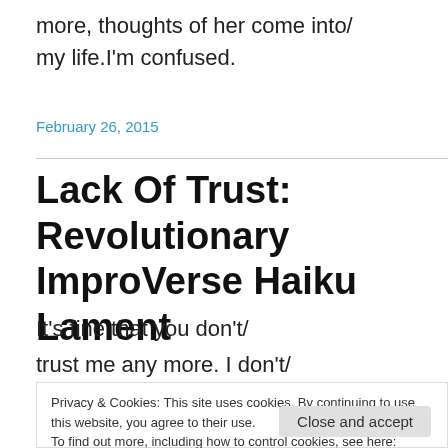more, thoughts of her come into/
my life.I'm confused.
February 26, 2015
Lack Of Trust: Revolutionary ImproVerse Haiku Lament
It's fine that you don't/
trust me any more. I don't/
Privacy & Cookies: This site uses cookies. By continuing to use this website, you agree to their use.
To find out more, including how to control cookies, see here: Cookie Policy